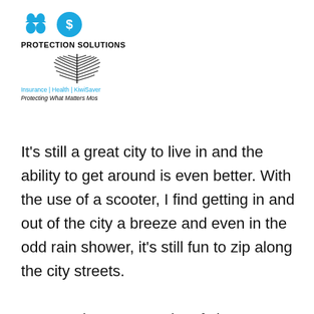[Figure (logo): Protection Solutions logo with two icons (umbrella/person and piggy bank), silver fern, tagline 'Insurance | Health | KiwiSaver' and 'Protecting What Matters Most']
It's still a great city to live in and the ability to get around is even better. With the use of a scooter, I find getting in and out of the city a breeze and even in the odd rain shower, it's still fun to zip along the city streets.
From an insurance point of view, we have had inquiries for health insurance for staff, this is a great way to reward staff and they gain benefits such as discounted premiums